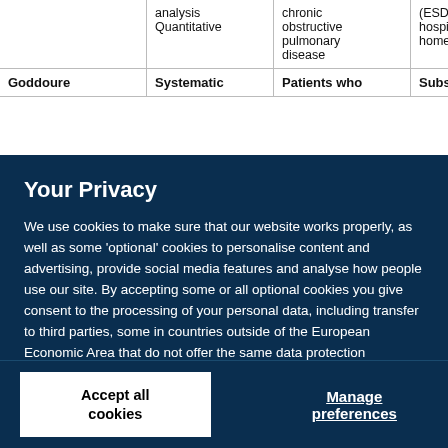|  | analysis Quantitative | chronic obstructive pulmonary disease | (ESD) and hospital at home (HAH) |
| --- | --- | --- | --- |
| Goddoure | Systematic | Patients who | Substitutive |
Your Privacy
We use cookies to make sure that our website works properly, as well as some 'optional' cookies to personalise content and advertising, provide social media features and analyse how people use our site. By accepting some or all optional cookies you give consent to the processing of your personal data, including transfer to third parties, some in countries outside of the European Economic Area that do not offer the same data protection standards as the country where you live. You can decide which optional cookies to accept by clicking on 'Manage Settings', where you can also find more information about how your personal data is processed. Further information can be found in our privacy policy.
Accept all cookies
Manage preferences